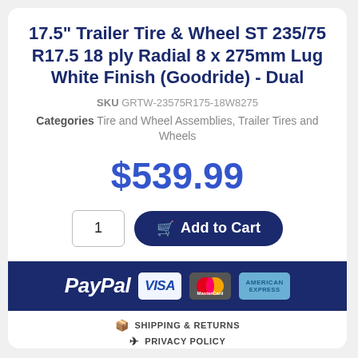17.5" Trailer Tire & Wheel ST 235/75 R17.5 18 ply Radial 8 x 275mm Lug White Finish (Goodride) - Dual
SKU GRTW-23575R175-18W8275
Categories Tire and Wheel Assemblies, Trailer Tires and Wheels
$539.99
1
Add to Cart
[Figure (other): Payment method logos: PayPal, Visa, MasterCard, American Express on dark blue background]
SHIPPING & RETURNS
PRIVACY POLICY